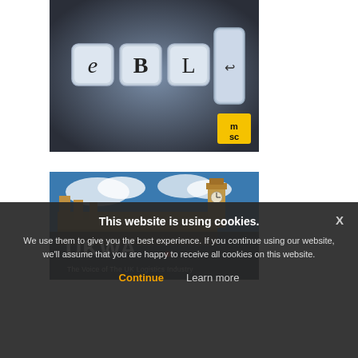[Figure (illustration): eBL keyboard keys spelling 'eBL' with an enter/return arrow key, on a dark gradient background, with MSC yellow logo in bottom right corner]
[Figure (photo): Houses of Parliament and Big Ben in London with UKWA logo overlay and text 'The Voice of The UK Logistics Industry']
This website is using cookies.
We use them to give you the best experience. If you continue using our website, we'll assume that you are happy to receive all cookies on this website.
Continue
Learn more